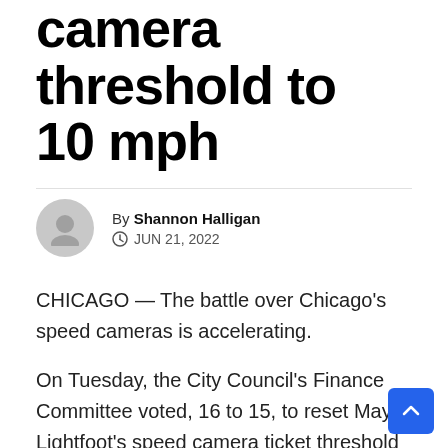camera threshold to 10 mph
By Shannon Halligan
JUN 21, 2022
CHICAGO — The battle over Chicago's speed cameras is accelerating.
On Tuesday, the City Council's Finance Committee voted, 16 to 15, to reset Mayor Lightfoot's speed camera ticket threshold from 6 miles per hour back to 10 miles per hour. The rollback was introduced by Ald. Anthony Beale and the final vote is set for Wednesday.